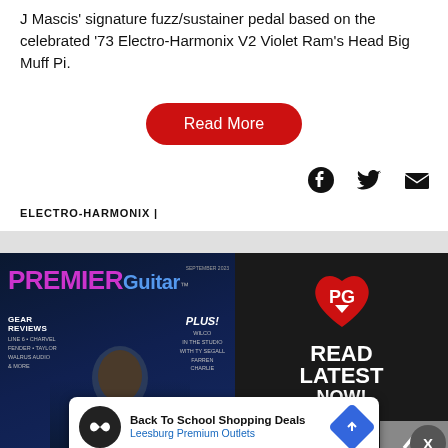J Mascis' signature fuzz/sustainer pedal based on the celebrated '73 Electro-Harmonix V2 Violet Ram's Head Big Muff Pi.
Read More
[Figure (screenshot): Social share icons: Facebook, Twitter, Email]
ELECTRO-HARMONIX |
[Figure (screenshot): Premier Guitar magazine cover with a male guitarist in dark clothing, purple PREMIER and blue Guitar text, Gear Reviews and PLUS! sections with Wilco, Ty Segall, Farren, Charlie]
[Figure (logo): Premier Guitar PG logo in red with arrow, READ LATEST NOW! text in white on dark background]
[Figure (screenshot): Advertisement: Back To School Shopping Deals, Leesburg Premium Outlets, with circular logo and blue diamond arrow icon]